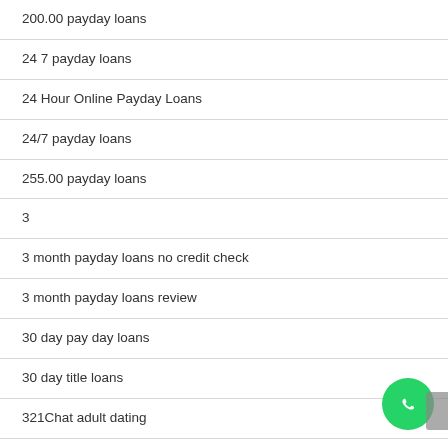200.00 payday loans
24 7 payday loans
24 Hour Online Payday Loans
24/7 payday loans
255.00 payday loans
3
3 month payday loans no credit check
3 month payday loans review
30 day pay day loans
30 day title loans
321Chat adult dating
321Chat app